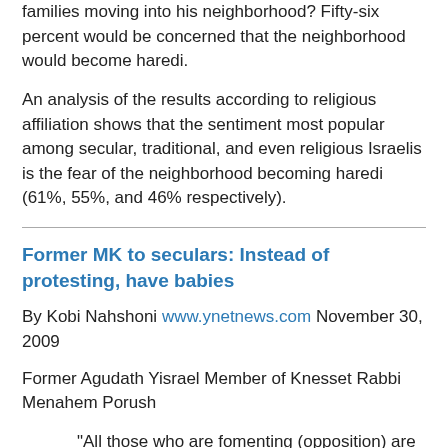families moving into his neighborhood? Fifty-six percent would be concerned that the neighborhood would become haredi.
An analysis of the results according to religious affiliation shows that the sentiment most popular among secular, traditional, and even religious Israelis is the fear of the neighborhood becoming haredi (61%, 55%, and 46% respectively).
Former MK to seculars: Instead of protesting, have babies
By Kobi Nahshoni www.ynetnews.com November 30, 2009
Former Agudath Yisrael Member of Knesset Rabbi Menahem Porush
"All those who are fomenting (opposition) are a very small group of young people consumed by hatrod. It's nothing. We have no reason to be